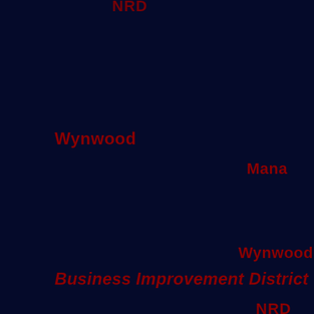[Figure (map): Dark navy blue map of the Wynwood area in Miami showing district labels including NRD (partially visible at top), Wynwood, Mana, Wynwood Business Improvement District, NRD, and Mana (partially visible at bottom). All text labels are in dark red on a very dark navy background.]